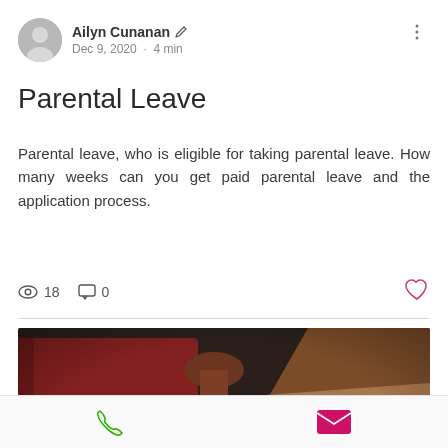Ailyn Cunanan · Dec 9, 2020 · 4 min
Parental Leave
Parental leave, who is eligible for taking parental leave. How many weeks can you get paid parental leave and the application process.
18 views · 0 comments
[Figure (photo): Close-up photograph of a wooden wax seal stamp handle standing upright on paper documents, with a wax seal spoon and other stationery items in the background.]